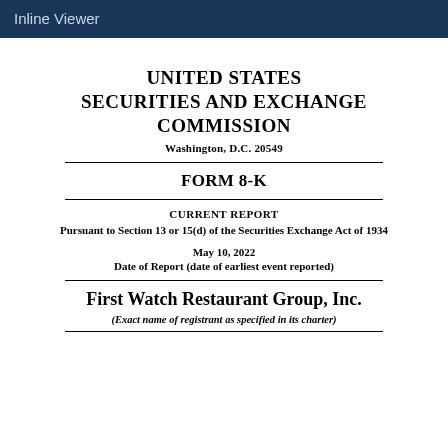Inline Viewer
UNITED STATES SECURITIES AND EXCHANGE COMMISSION
Washington, D.C. 20549
FORM 8-K
CURRENT REPORT
Pursuant to Section 13 or 15(d) of the Securities Exchange Act of 1934
May 10, 2022
Date of Report (date of earliest event reported)
First Watch Restaurant Group, Inc.
(Exact name of registrant as specified in its charter)